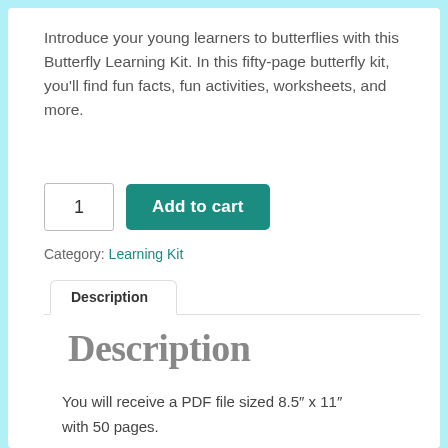Introduce your young learners to butterflies with this Butterfly Learning Kit. In this fifty-page butterfly kit, you'll find fun facts, fun activities, worksheets, and more.
1   Add to cart
Category: Learning Kit
Description
Description
You will receive a PDF file sized 8.5″ x 11″ with 50 pages.